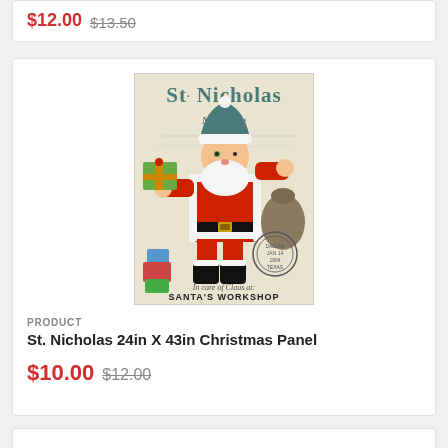$12.00 $13.50
[Figure (illustration): Vintage St. Nicholas/Santa Claus Christmas panel illustration. Shows Santa in red suit with white trim, black boots, and blue hat, holding a present. Background has cursive text 'In care of Claus at: SANTA'S WORKSHOP' and a postmark stamp. Header reads 'St. Nicholas North Pole' in decorative script.]
PRODUCT
St. Nicholas 24in X 43in Christmas Panel
$10.00 $12.00